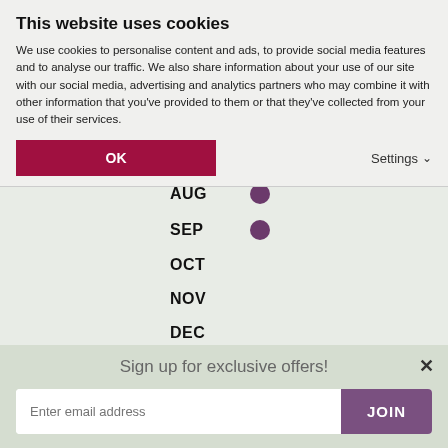This website uses cookies
We use cookies to personalise content and ads, to provide social media features and to analyse our traffic. We also share information about your use of our site with our social media, advertising and analytics partners who may combine it with other information that you've provided to them or that they've collected from your use of their services.
OK
Settings
AUG
SEP
OCT
NOV
DEC
Sign up for exclusive offers!
Enter email address
JOIN